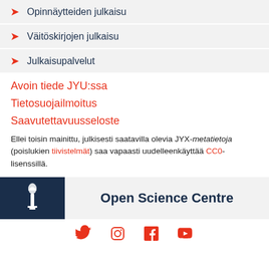Opinnäytteiden julkaisu
Väitöskirjojen julkaisu
Julkaisupalvelut
Avoin tiede JYU:ssa
Tietosuojailmoitus
Saavutettavuusseloste
Ellei toisin mainittu, julkisesti saatavilla olevia JYX-metatietoja (poislukien tiivistelmät) saa vapaasti uudelleenkäyttää CC0-lisenssillä.
[Figure (logo): Open Science Centre logo with torch icon on dark blue background and text 'Open Science Centre']
[Figure (other): Social media icons: Twitter, Instagram, Facebook, YouTube in red/orange color]